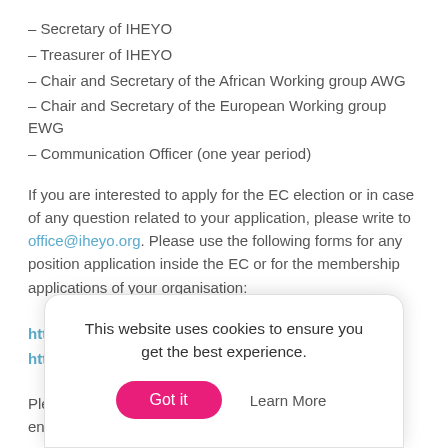– Secretary of IHEYO
– Treasurer of IHEYO
– Chair and Secretary of the African Working group AWG
– Chair and Secretary of the European Working group EWG
– Communication Officer (one year period)
If you are interested to apply for the EC election or in case of any question related to your application, please write to office@iheyo.org. Please use the following forms for any position application inside the EC or for the membership applications of your organisation:
http://forms.iheyo.org/apply-iheyo-membership
http://forms.iheyo.org/apply-position-iheyo
Please ... e end ...
This website uses cookies to ensure you get the best experience.